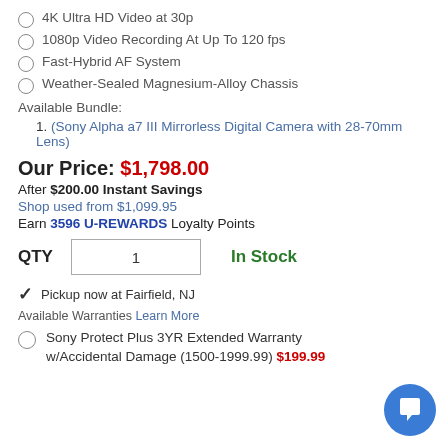4K Ultra HD Video at 30p
1080p Video Recording At Up To 120 fps
Fast-Hybrid AF System
Weather-Sealed Magnesium-Alloy Chassis
Available Bundle:
(Sony Alpha a7 III Mirrorless Digital Camera with 28-70mm Lens)
Our Price: $1,798.00
After $200.00 Instant Savings
Shop used from $1,099.95
Earn 3596 U-REWARDS Loyalty Points
QTY 1   In Stock
Pickup now at Fairfield, NJ
Available Warranties Learn More
Sony Protect Plus 3YR Extended Warranty w/Accidental Damage (1500-1999.99) $199.99